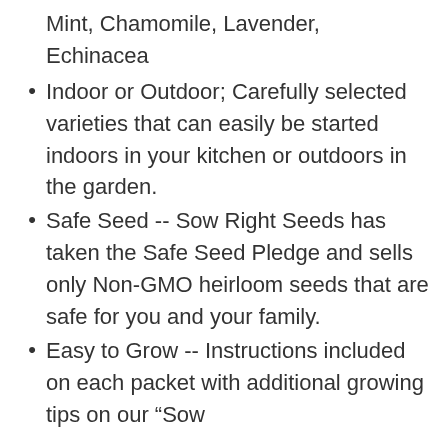Mint, Chamomile, Lavender, Echinacea
Indoor or Outdoor; Carefully selected varieties that can easily be started indoors in your kitchen or outdoors in the garden.
Safe Seed -- Sow Right Seeds has taken the Safe Seed Pledge and sells only Non-GMO heirloom seeds that are safe for you and your family.
Easy to Grow -- Instructions included on each packet with additional growing tips on our “Sow